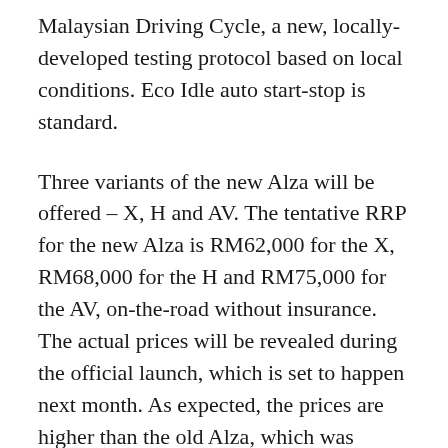Malaysian Driving Cycle, a new, locally-developed testing protocol based on local conditions. Eco Idle auto start-stop is standard.
Three variants of the new Alza will be offered – X, H and AV. The tentative RRP for the new Alza is RM62,000 for the X, RM68,000 for the H and RM75,000 for the AV, on-the-road without insurance. The actual prices will be revealed during the official launch, which is set to happen next month. As expected, the prices are higher than the old Alza, which was priced from RM52,661 to RM60,525, if you discount the sub-RM50k manual version.
Highlighted points in the flyer include an electronic parking brake (EPB) with auto brake hold, the show...